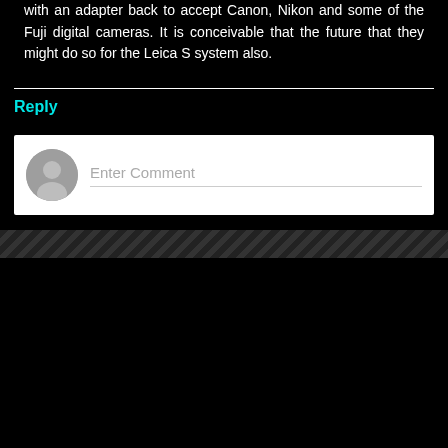with an adapter back to accept Canon, Nikon and some of the Fuji digital cameras. It is conceivable that the future that they might do so for the Leica S system also.
Reply
[Figure (screenshot): Comment input field with avatar placeholder and 'Enter Comment' placeholder text]
[Figure (screenshot): Navigation bar with back arrow button, Home button, and forward arrow button, plus 'View web version' link below]